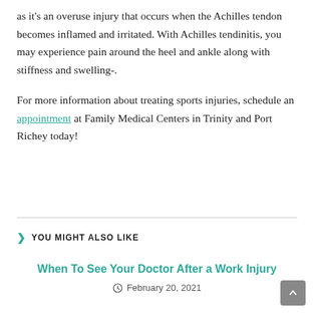as it's an overuse injury that occurs when the Achilles tendon becomes inflamed and irritated. With Achilles tendinitis, you may experience pain around the heel and ankle along with stiffness and swelling-.
For more information about treating sports injuries, schedule an appointment at Family Medical Centers in Trinity and Port Richey today!
YOU MIGHT ALSO LIKE
When To See Your Doctor After a Work Injury
February 20, 2021